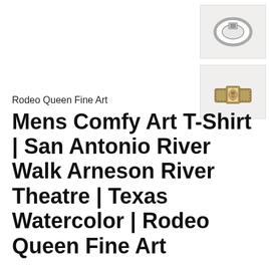[Figure (photo): Thumbnail image of a ring with white background, top view showing ring with small decorative element, gray/silver tones]
[Figure (photo): Thumbnail image of a ring with white background, front view showing rectangular gold-toned band with small portrait/cameo]
Rodeo Queen Fine Art
Mens Comfy Art T-Shirt | San Antonio River Walk Arneson River Theatre | Texas Watercolor | Rodeo Queen Fine Art